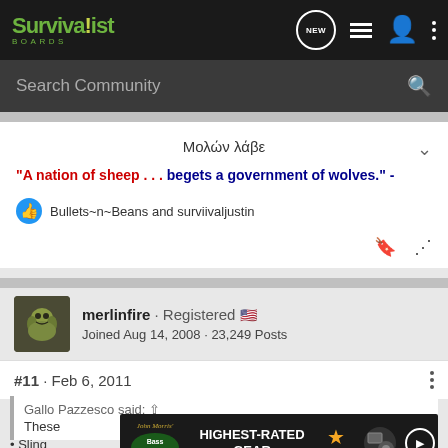Survivalist Boards
Search Community
Μολών λάβε
"A nation of sheep . . . begets a government of wolves." -
Bullets~n~Beans and surviivaljustin
merlinfire · Registered
Joined Aug 14, 2008 · 23,249 Posts
#11 · Feb 6, 2011
Gallo Pazzesco said:
These
• Sling
[Figure (screenshot): Bass Pro Shops advertisement banner: HIGHEST-RATED GEAR, with star rating 4.2]